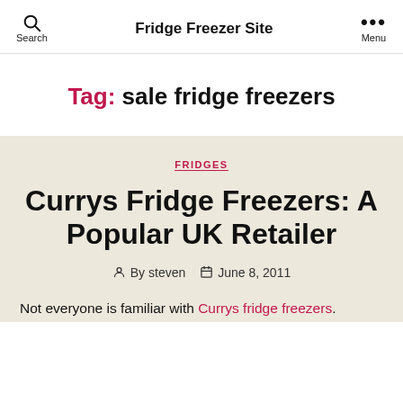Fridge Freezer Site — Search | Menu
Tag: sale fridge freezers
FRIDGES
Currys Fridge Freezers: A Popular UK Retailer
By steven  June 8, 2011
Not everyone is familiar with Currys fridge freezers.